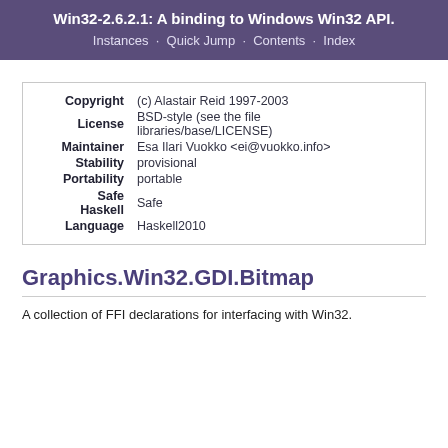Win32-2.6.2.1: A binding to Windows Win32 API. Instances · Quick Jump · Contents · Index
| Field | Value |
| --- | --- |
| Copyright | (c) Alastair Reid 1997-2003 |
| License | BSD-style (see the file libraries/base/LICENSE) |
| Maintainer | Esa Ilari Vuokko <ei@vuokko.info> |
| Stability | provisional |
| Portability | portable |
| Safe Haskell | Safe |
| Language | Haskell2010 |
Graphics.Win32.GDI.Bitmap
A collection of FFI declarations for interfacing with Win32.